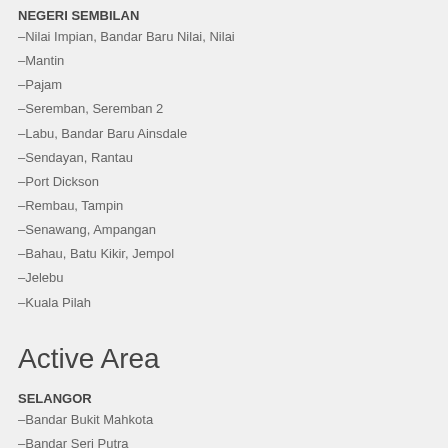NEGERI SEMBILAN
–Nilai Impian, Bandar Baru Nilai, Nilai
–Mantin
–Pajam
–Seremban, Seremban 2
–Labu, Bandar Baru Ainsdale
–Sendayan, Rantau
–Port Dickson
–Rembau, Tampin
–Senawang, Ampangan
–Bahau, Batu Kikir, Jempol
–Jelebu
–Kuala Pilah
Active Area
SELANGOR
–Bandar Bukit Mahkota
–Bandar Seri Putra